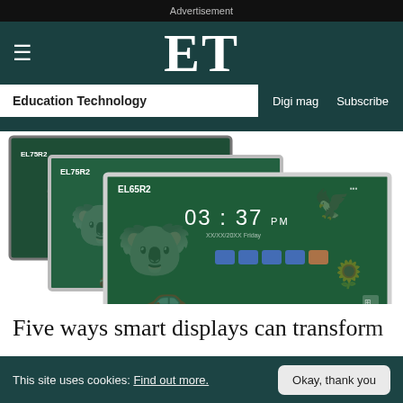Advertisement
ET | Education Technology | Digi mag | Subscribe
[Figure (photo): Three overlapping interactive smart display screens (EL75R2 and EL65R2 models) showing a green chalkboard-style home screen with koala and car illustrations, displaying time 03:37 PM]
Five ways smart displays can transform
This site uses cookies: Find out more.